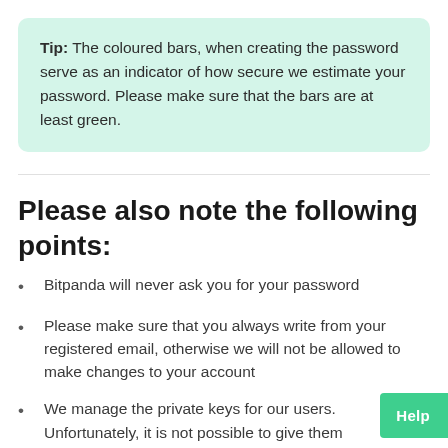Tip: The coloured bars, when creating the password serve as an indicator of how secure we estimate your password. Please make sure that the bars are at least green.
Please also note the following points:
Bitpanda will never ask you for your password
Please make sure that you always write from your registered email, otherwise we will not be allowed to make changes to your account
We manage the private keys for our users. Unfortunately, it is not possible to give them you would rather hold your own keys then we